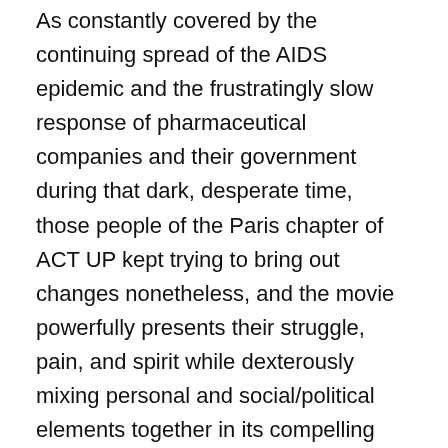As constantly covered by the continuing spread of the AIDS epidemic and the frustratingly slow response of pharmaceutical companies and their government during that dark, desperate time, those people of the Paris chapter of ACT UP kept trying to bring out changes nonetheless, and the movie powerfully presents their struggle, pain, and spirit while dexterously mixing personal and social/political elements together in its compelling human drama.
The movie opens with a group of ACT UP members preparing for their another public demonstration, which is soon going to be committed at a government conference on the ongoing AIDS epidemic. Shortly after one key speaker starts his presentation on the stage, they suddenly appear from the backstage with their urgent slogans and messages, and they surely capture